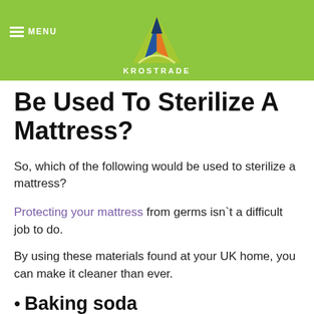MENU | KROSTRADE
Be Used To Sterilize A Mattress?
So, which of the following would be used to sterilize a mattress?
Protecting your mattress from germs isn`t a difficult job to do.
By using these materials found at your UK home, you can make it cleaner than ever.
Baking soda
You are pretty surprised to know that your simple ingredient in making cookies can sanitise your mattress.